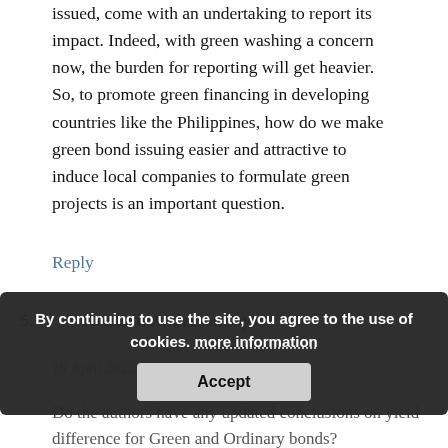issued, come with an undertaking to report its impact. Indeed, with green washing a concern now, the burden for reporting will get heavier. So, to promote green financing in developing countries like the Philippines, how do we make green bond issuing easier and attractive to induce local companies to formulate green projects is an important question.
Reply
5.  — Kenneth Anderson says:
19 April 2022 at 20:06
By continuing to use the site, you agree to the use of cookies. more information
This
Accept
Do the authors have any updated conclusions on yield difference for Green and Ordinary bonds?